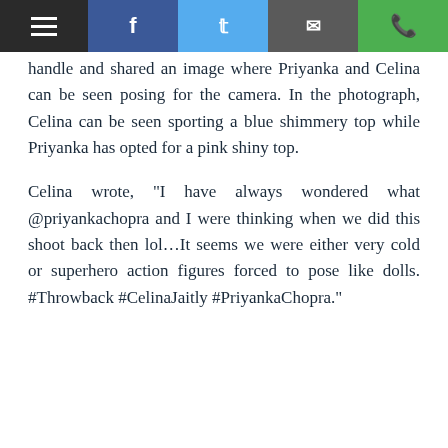Toolbar with menu, Facebook, Twitter, email, WhatsApp icons
handle and shared an image where Priyanka and Celina can be seen posing for the camera. In the photograph, Celina can be seen sporting a blue shimmery top while Priyanka has opted for a pink shiny top.
Celina wrote, "I have always wondered what @priyankachopra and I were thinking when we did this shoot back then lol…It seems we were either very cold or superhero action figures forced to pose like dolls. #Throwback #CelinaJaitly #PriyankaChopra."